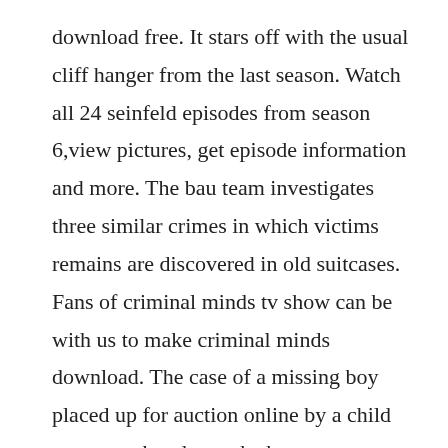download free. It stars off with the usual cliff hanger from the last season. Watch all 24 seinfeld episodes from season 6,view pictures, get episode information and more. The bau team investigates three similar crimes in which victims remains are discovered in old suitcases. Fans of criminal minds tv show can be with us to make criminal minds download. The case of a missing boy placed up for auction online by a child pornographer draws the bau team to work together with a former profiler. The television vulture is watching all